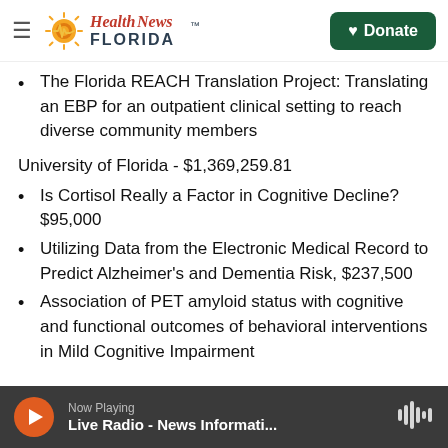Health News Florida — Donate
The Florida REACH Translation Project: Translating an EBP for an outpatient clinical setting to reach diverse community members
University of Florida - $1,369,259.81
Is Cortisol Really a Factor in Cognitive Decline? $95,000
Utilizing Data from the Electronic Medical Record to Predict Alzheimer's and Dementia Risk, $237,500
Association of PET amyloid status with cognitive and functional outcomes of behavioral interventions in Mild Cognitive Impairment
Now Playing — Live Radio - News Informati...